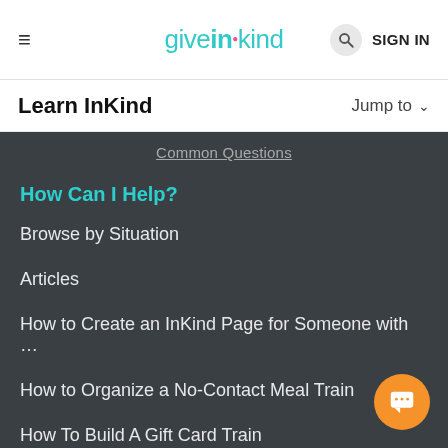≡  give·in·kind  SIGN IN
Learn InKind   Jump to ∨
Common Questions
How Can I Help?
Browse by Situation
Articles
How to Create an InKind Page for Someone with …
How to Organize a No-Contact Meal Train
How To Build A Gift Card Train